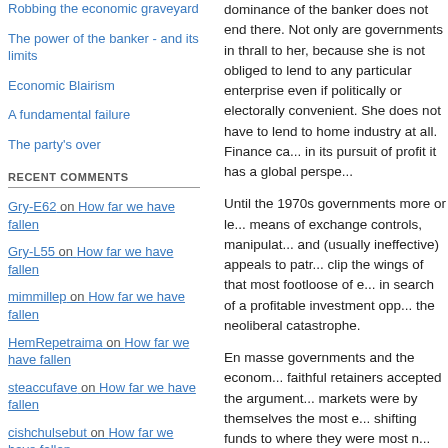Robbing the economic graveyard
The power of the banker - and its limits
Economic Blairism
A fundamental failure
The party's over
RECENT COMMENTS
Gry-E62 on How far we have fallen
Gry-L55 on How far we have fallen
mimmillep on How far we have fallen
HemRepetraima on How far we have fallen
steaccufave on How far we have fallen
cishchulsebut on How far we have fallen
stvmwvrn on How far we have fallen
Adamlambertson on How far we have fallen
dominance of the banker does not end there. Not only are governments in thrall to her, because she is not obliged to lend to any particular enterprise even if politically or electorally convenient. She does not have to lend to home industry at all. Finance capital: in its pursuit of profit it has a global perspective.
Until the 1970s governments more or less controlled by means of exchange controls, manipulation of interest rates and (usually ineffective) appeals to patriotism, managed to clip the wings of that most footloose of economic actors in search of a profitable investment opportunity. That was the neoliberal catastrophe.
En masse governments and the economists who were their faithful retainers accepted the argument that free capital markets were by themselves the most efficient means of shifting funds to where they were most needed and most productive. Free capital markets at home and abroad notably in the developing world; indeed free ma
Today we are looking at the wreckage of that ideology. What is needed is not a rebooting of the financial system of the sort envisaged in the Washington bail out of